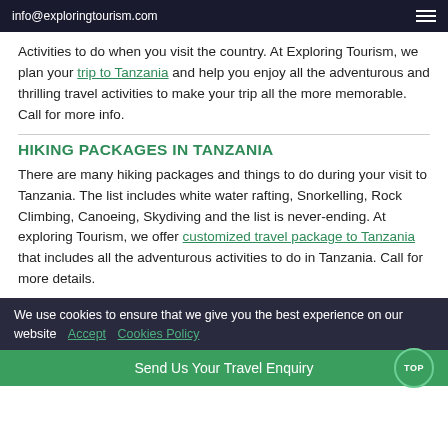info@exploringtourism.com
Activities to do when you visit the country. At Exploring Tourism, we plan your trip to Tanzania and help you enjoy all the adventurous and thrilling travel activities to make your trip all the more memorable. Call for more info.
HIKING PACKAGES IN TANZANIA
There are many hiking packages and things to do during your visit to Tanzania. The list includes white water rafting, Snorkelling, Rock Climbing, Canoeing, Skydiving and the list is never-ending. At exploring Tourism, we offer customized travel package to Tanzania that includes all the adventurous activities to do in Tanzania. Call for more details.
We use cookies to ensure that we give you the best experience on our website  Accept  Cookies Policy
Send Us Your Travel Enquiry